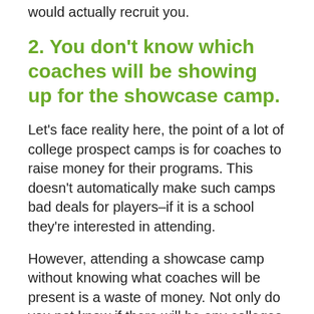would actually recruit you.
2. You don't know which coaches will be showing up for the showcase camp.
Let's face reality here, the point of a lot of college prospect camps is for coaches to raise money for their programs. This doesn't automatically make such camps bad deals for players–if it is a school they're interested in attending.
However, attending a showcase camp without knowing what coaches will be present is a waste of money. Not only do you not know if there will be any colleges you're interested in playing for, you won't have any